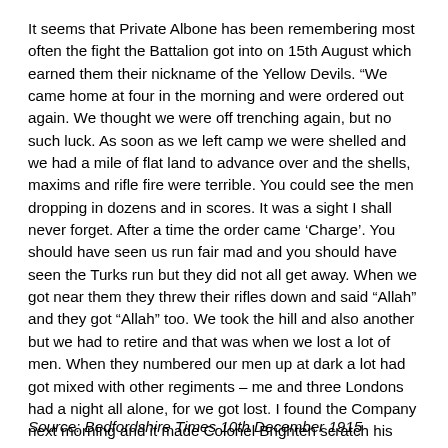It seems that Private Albone has been remembering most often the fight the Battalion got into on 15th August which earned them their nickname of the Yellow Devils. “We came home at four in the morning and were ordered out again. We thought we were off trenching again, but no such luck. As soon as we left camp we were shelled and we had a mile of flat land to advance over and the shells, maxims and rifle fire were terrible. You could see the men dropping in dozens and in scores. It was a sight I shall never forget. After a time the order came ‘Charge’. You should have seen us run fair mad and you should have seen the Turks run but they did not all get away. When we got near them they threw their rifles down and said “Allah” and they got “Allah” too. We took the hill and also another but we had to retire and that was when we lost a lot of men. When they numbered our men up at dark a lot had got mixed with other regiments – me and three Londons had a night all alone, for we got lost. I found the Company next morning and it made Colonel Brighten scratch his head”(1)
Source: Bedfordshire Times 10th December 1915